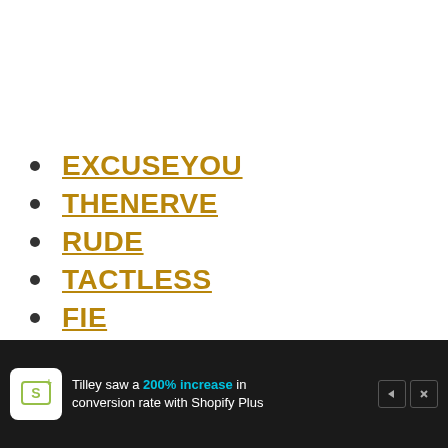EXCUSEYOU
THENERVE
RUDE
TACTLESS
FIE
TSK
TSKTSK
TUT